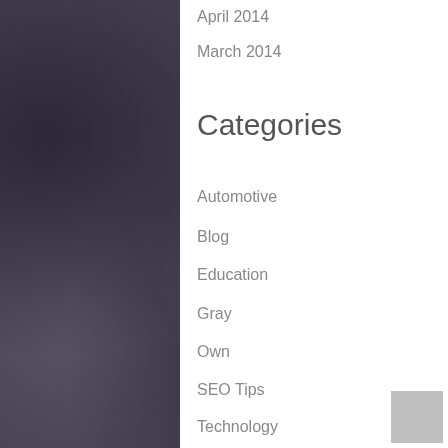April 2014
March 2014
Categories
Automotive
Blog
Education
Gray
Own
SEO Tips
Technology
Uncategorized
Copyright ©2022 Gray Matter 11 | Theme by: Theme Horse | Powered by: WordPress